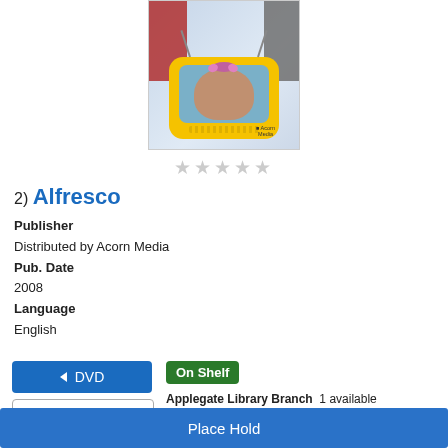[Figure (illustration): DVD cover art for Alfresco showing a yellow cartoon TV set with a woman's face on screen, and two people visible behind it; Acorn Media logo in corner]
★★★★★ (empty stars rating)
2) Alfresco
Publisher
Distributed by Acorn Media
Pub. Date
2008
Language
English
DVD
Show Edition
On Shelf
Applegate Library Branch  1 available
V F ALFRESCO SERIES 1
Ashland Library  1 available
V F ALFRESCO SERIES 2
Place Hold